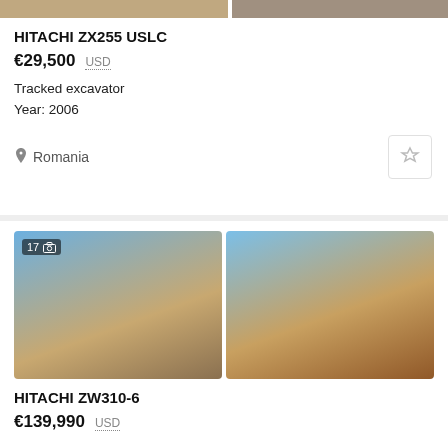[Figure (photo): Partial top view of tracked excavator listing images - cropped photos of construction equipment]
HITACHI ZX255 USLC
€29,500  USD
Tracked excavator
Year: 2006
Romania
[Figure (photo): Two photos of Hitachi ZW310-6 wheel loader, orange machine in outdoor yard, 17 photos badge on first image]
HITACHI ZW310-6
€139,990  USD